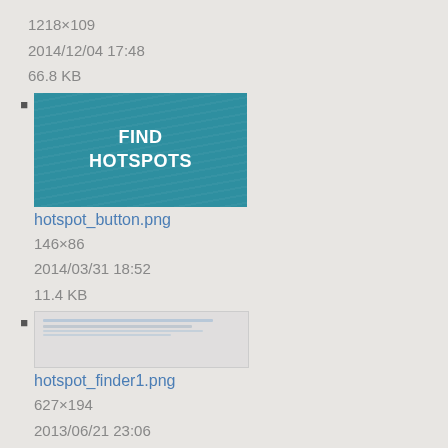1218×109
2014/12/04 17:48
66.8 KB
hotspot_button.png
146×86
2014/03/31 18:52
11.4 KB
hotspot_finder1.png
627×194
2013/06/21 23:06
5.3 KB
hotspot_finder2.png
568×119
2013/06/21 23:12
4.7 KB